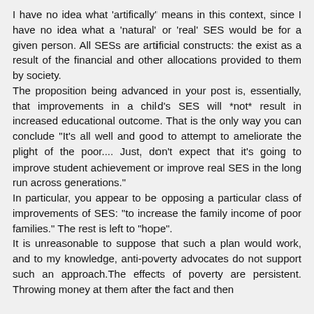I have no idea what 'artifically' means in this context, since I have no idea what a 'natural' or 'real' SES would be for a given person. All SESs are artificial constructs: the exist as a result of the financial and other allocations provided to them by society.
The proposition being advanced in your post is, essentially, that improvements in a child's SES will *not* result in increased educational outcome. That is the only way you can conclude "It's all well and good to attempt to ameliorate the plight of the poor.... Just, don't expect that it's going to improve student achievement or improve real SES in the long run across generations."
In particular, you appear to be opposing a particular class of improvements of SES: "to increase the family income of poor families." The rest is left to "hope".
It is unreasonable to suppose that such a plan would work, and to my knowledge, anti-poverty advocates do not support such an approach.The effects of poverty are persistent. Throwing money at them after the fact and then